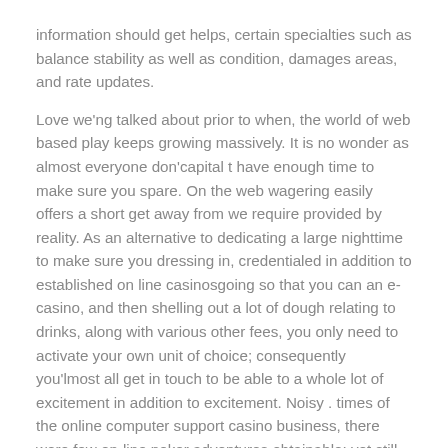information should get helps, certain specialties such as balance stability as well as condition, damages areas, and rate updates.
Love we'ng talked about prior to when, the world of web based play keeps growing massively. It is no wonder as almost everyone don'capital t have enough time to make sure you spare. On the web wagering easily offers a short get away from we require provided by reality. As an alternative to dedicating a large nighttime to make sure you dressing in, credentialed in addition to established on line casinosgoing so that you can an e-casino, and then shelling out a lot of dough relating to drinks, along with various other fees, you only need to activate your own unit of choice; consequently you'lmost all get in touch to be able to a whole lot of excitement in addition to excitement. Noisy . times of the online computer support casino business, there were few on-line poker adventures obtainable; yet still, it has changed. In recent times, you'll be along with the great assortment of betting activities for sale , along with additional via the internet casinos. Seeing that monthly payment engineering has continued to evolve, to boot, bettors are now able to earn money away from web based casinos. To begin with, on handheld internet casino online games, gamers was solely permitted to guarantee with the help of in-game currency. Nonetheless, at this time, there are ways to completely hook up to an internet based remote computer where you can now and start paid back free of details